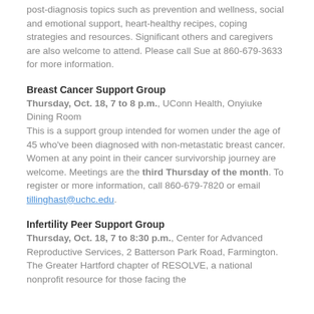post-diagnosis topics such as prevention and wellness, social and emotional support, heart-healthy recipes, coping strategies and resources. Significant others and caregivers are also welcome to attend. Please call Sue at 860-679-3633 for more information.
Breast Cancer Support Group
Thursday, Oct. 18, 7 to 8 p.m., UConn Health, Onyiuke Dining Room
This is a support group intended for women under the age of 45 who've been diagnosed with non-metastatic breast cancer. Women at any point in their cancer survivorship journey are welcome. Meetings are the third Thursday of the month. To register or more information, call 860-679-7820 or email tillinghast@uchc.edu.
Infertility Peer Support Group
Thursday, Oct. 18, 7 to 8:30 p.m., Center for Advanced Reproductive Services, 2 Batterson Park Road, Farmington.
The Greater Hartford chapter of RESOLVE, a national nonprofit resource for those facing the